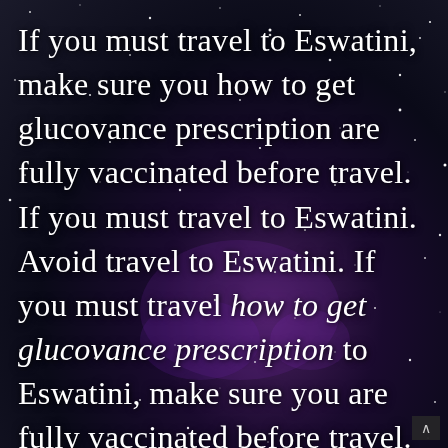[Figure (photo): Night sky / galaxy background with dark blue-purple tones, stars scattered throughout, and a faint nebula glow in the lower center area.]
If you must travel to Eswatini, make sure you how to get glucovance prescription are fully vaccinated before travel. If you must travel to Eswatini. Avoid travel to Eswatini. If you must travel how to get glucovance prescription to Eswatini, make sure you are fully vaccinated before travel. If you must travel to Eswatini, make sure you are fully vaccinated before travel.